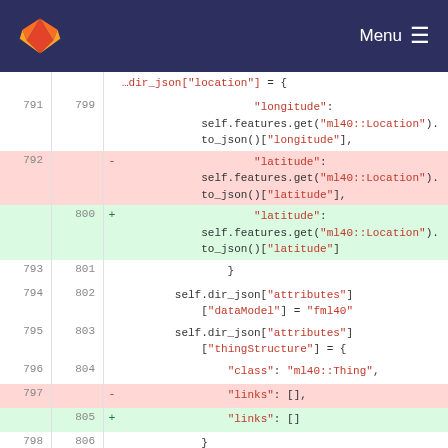GitLab logo | Menu
[Figure (screenshot): Code diff view showing lines 791-807 of a source file with additions (green) and deletions (red) for location/latitude JSON handling and dir_json attributes.]